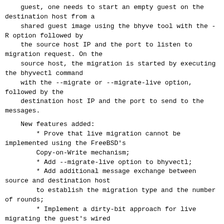guest, one needs to start an empty guest on the destination host from a
    shared guest image using the bhyve tool with the -R option followed by
    the source host IP and the port to listen to migration request. On the
    source host, the migration is started by executing the bhyvectl command
    with the --migrate or --migrate-live option, followed by the
    destination host IP and the port to send to the messages.
New features added:
* Prove that live migration cannot be implemented using the FreeBSD's
        Copy-on-Write mechanism;
* Add --migrate-live option to bhyvectl;
* Add additional message exchange between source and destination host
        to establish the migration type and the number of rounds;
* Implement a dirty-bit approach for live migrating the guest's wired
        memory;
Future tasks:
* Clear the dirty bit after each migration round;
* Extend live migration to highmem segment;
* Extend live migration to unwired memory;